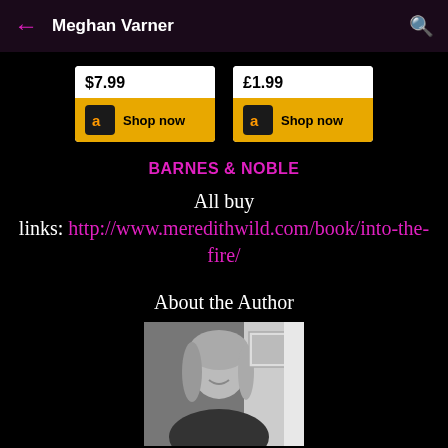Meghan Varner
[Figure (other): Amazon US buy button showing $7.99 price with Shop now button]
[Figure (other): Amazon UK buy button showing £1.99 price with Shop now button]
BARNES & NOBLE
All buy links: http://www.meredithwild.com/book/into-the-fire/
About the Author
[Figure (photo): Black and white portrait photo of a smiling woman with blonde hair]